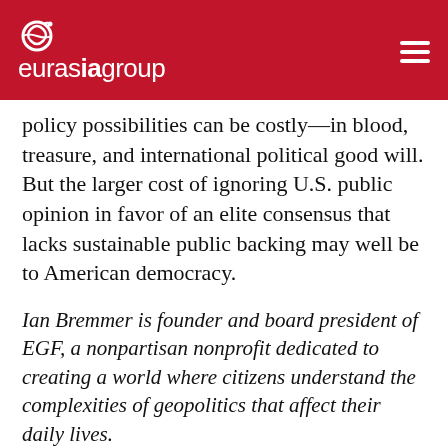eurasia group
policy possibilities can be costly—in blood, treasure, and international political good will. But the larger cost of ignoring U.S. public opinion in favor of an elite consensus that lacks sustainable public backing may well be to American democracy.
Ian Bremmer is founder and board president of EGF, a nonpartisan nonprofit dedicated to creating a world where citizens understand the complexities of geopolitics that affect their daily lives.